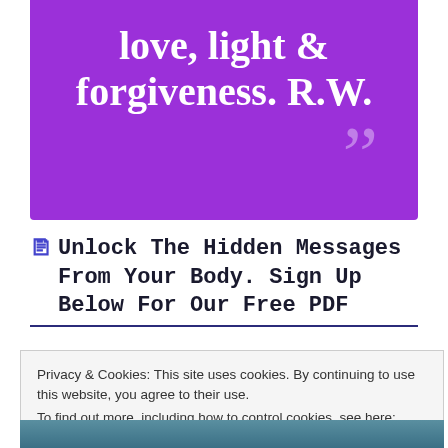[Figure (illustration): Purple banner with large white serif bold text reading 'love, light & forgiveness. R.W.' and large light purple closing quotation marks in bottom right corner]
🗎 Unlock The Hidden Messages From Your Body. Sign Up Below For Our Free PDF
[Figure (photo): Top portion of a dark-colored smartphone visible at the bottom of the content area]
Privacy & Cookies: This site uses cookies. By continuing to use this website, you agree to their use.
To find out more, including how to control cookies, see here: Cookie Policy
Close and accept